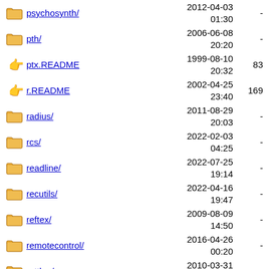psychosynth/  2012-04-03 01:30  -
pth/  2006-06-08 20:20  -
ptx.README  1999-08-10 20:32  83
r.README  2002-04-25 23:40  169
radius/  2011-08-29 20:03  -
rcs/  2022-02-03 04:25  -
readline/  2022-07-25 19:14  -
recutils/  2022-04-16 19:47  -
reftex/  2009-08-09 14:50  -
remotecontrol/  2016-04-26 00:20  -
rottlog/  2010-03-31 00:30  -